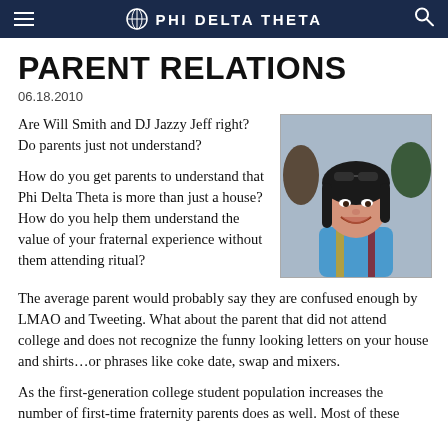PHI DELTA THETA
PARENT RELATIONS
06.18.2010
Are Will Smith and DJ Jazzy Jeff right? Do parents just not understand?
[Figure (photo): Smiling woman wearing graduation attire with sunglasses on her head, outdoors among a crowd]
How do you get parents to understand that Phi Delta Theta is more than just a house? How do you help them understand the value of your fraternal experience without them attending ritual?
The average parent would probably say they are confused enough by LMAO and Tweeting. What about the parent that did not attend college and does not recognize the funny looking letters on your house and shirts…or phrases like coke date, swap and mixers.
As the first-generation college student population increases the number of first-time fraternity parents does as well. Most of these